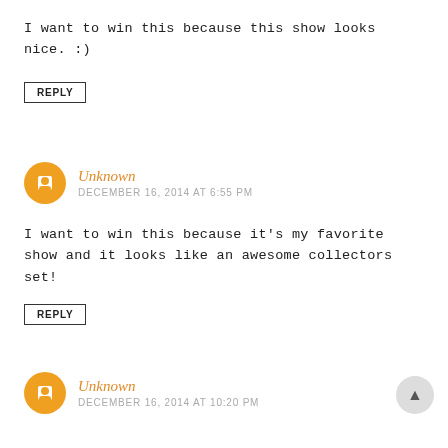I want to win this because this show looks nice. :)
REPLY
Unknown
DECEMBER 16, 2014 AT 6:55 PM
I want to win this because it's my favorite show and it looks like an awesome collectors set!
REPLY
Unknown
DECEMBER 16, 2014 AT 10:20 PM